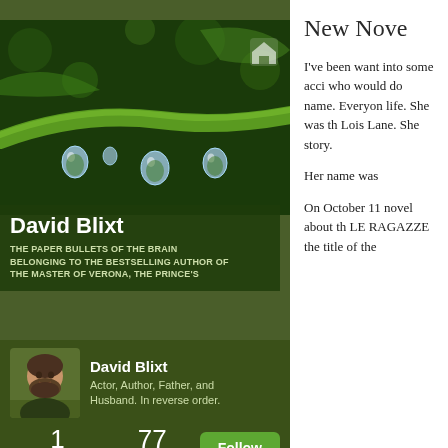[Figure (photo): Close-up photo of green plant stem with water droplets hanging from it, macro photography]
David Blixt
THE PAPER BULLETS OF THE BRAIN BELONGING TO THE BESTSELLING AUTHOR OF THE MASTER OF VERONA, THE PRINCE'S
[Figure (photo): Profile photo of David Blixt, a man with a beard]
David Blixt
Actor, Author, Father, and Husband. In reverse order.
1
FOLLOWING
77
FOLLOWERS
New Nove
I've been want into some acci who would do name. Everyon life. She was th Lois Lane. She story.
Her name was
On October 11 novel about th LE RAGAZZE the title of the